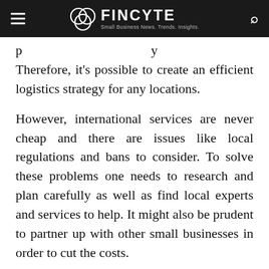FINCYTE — Small Business News. Trends. Insights.
p ... p ... p ... y Therefore, it's possible to create an efficient logistics strategy for any locations.
However, international services are never cheap and there are issues like local regulations and bans to consider. To solve these problems one needs to research and plan carefully as well as find local experts and services to help. It might also be prudent to partner up with other small businesses in order to cut the costs.
Should Small and Medium Businesses Take Ri... d G... Gl b l?